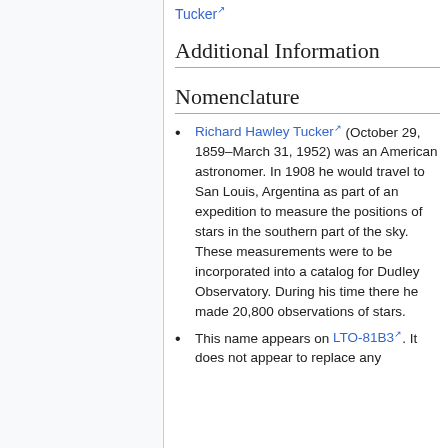Tucker (link)
Additional Information
Nomenclature
Richard Hawley Tucker (October 29, 1859–March 31, 1952) was an American astronomer. In 1908 he would travel to San Louis, Argentina as part of an expedition to measure the positions of stars in the southern part of the sky. These measurements were to be incorporated into a catalog for Dudley Observatory. During his time there he made 20,800 observations of stars.
This name appears on LTO-81B3 (link). It does not appear to replace any...